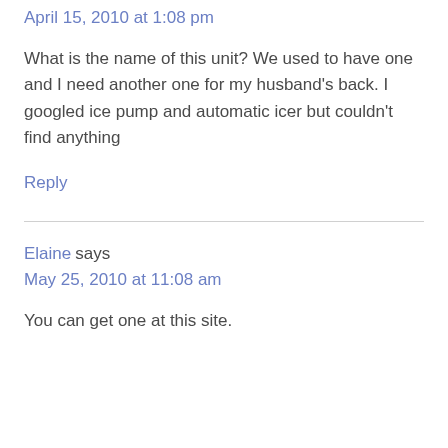April 15, 2010 at 1:08 pm
What is the name of this unit? We used to have one and I need another one for my husband's back. I googled ice pump and automatic icer but couldn't find anything
Reply
Elaine says
May 25, 2010 at 11:08 am
You can get one at this site.